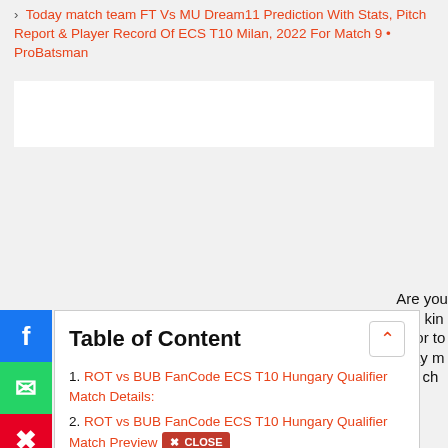Today match team FT Vs MU Dream11 Prediction With Stats, Pitch Report & Player Record Of ECS T10 Milan, 2022 For Match 9 • ProBatsman
[Figure (other): White advertisement box area]
Table of Content
1. ROT vs BUB FanCode ECS T10 Hungary Qualifier Match Details:
2. ROT vs BUB FanCode ECS T10 Hungary Qualifier Match Preview
3. ROT vs BUB FanCode ECS T10 Hungary Qualifier Match Weather Report:
4. ROT vs BUB FanCode ECS T10 Hungary Qualifier Match Pitch Report:
Are you looking for today match